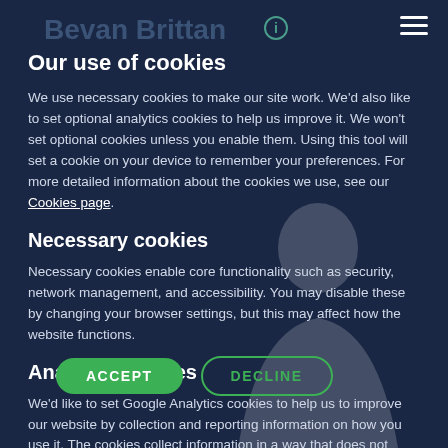Bevan Brittan
Our use of cookies
We use necessary cookies to make our site work. We'd also like to set optional analytics cookies to help us improve it. We won't set optional cookies unless you enable them. Using this tool will set a cookie on your device to remember your preferences. For more detailed information about the cookies we use, see our Cookies page.
Necessary cookies
Necessary cookies enable core functionality such as security, network management, and accessibility. You may disable these by changing your browser settings, but this may affect how the website functions.
Analytics cookies
We'd like to set Google Analytics cookies to help us to improve our website by collection and reporting information on how you use it. The cookies collect information in a way that does not directly identify anyone. For more information on how these cookies work, please see our Cookies page.
ACCEPT   DECLINE